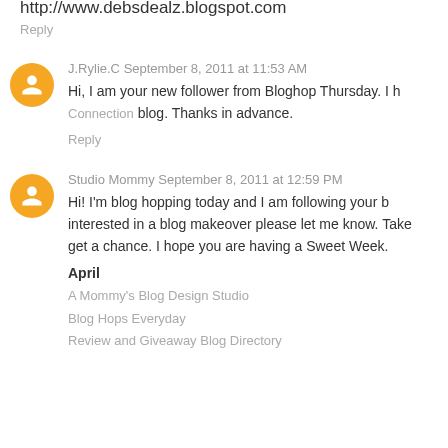Thanks, Debbie.
http://www.debsdealz.blogspot.com
Reply
J.Rylie.C September 8, 2011 at 11:53 AM
Hi, I am your new follower from Bloghop Thursday. I h Connection blog. Thanks in advance.
Reply
Studio Mommy September 8, 2011 at 12:59 PM
Hi! I'm blog hopping today and I am following your b interested in a blog makeover please let me know. Take get a chance. I hope you are having a Sweet Week.
April
A Mommy's Blog Design Studio
Blog Hops Everyday
Review and Giveaway Blog Directory